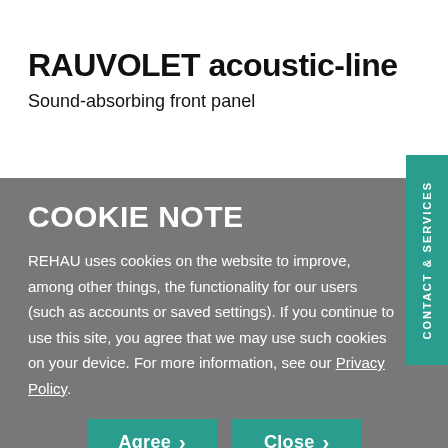RAUVOLET acoustic-line
Sound-absorbing front panel
COOKIE NOTE
REHAU uses cookies on the website to improve, among other things, the functionality for our users (such as accounts or saved settings). If you continue to use this site, you agree that we may use such cookies on your device. For more information, see our Privacy Policy.
Agree > Close >